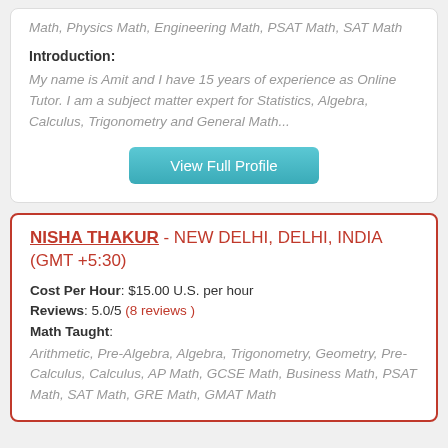Math, Physics Math, Engineering Math, PSAT Math, SAT Math
Introduction:
My name is Amit and I have 15 years of experience as Online Tutor. I am a subject matter expert for Statistics, Algebra, Calculus, Trigonometry and General Math...
View Full Profile
NISHA THAKUR - NEW DELHI, DELHI, INDIA (GMT +5:30)
Cost Per Hour: $15.00 U.S. per hour
Reviews: 5.0/5 (8 reviews )
Math Taught:
Arithmetic, Pre-Algebra, Algebra, Trigonometry, Geometry, Pre-Calculus, Calculus, AP Math, GCSE Math, Business Math, PSAT Math, SAT Math, GRE Math, GMAT Math